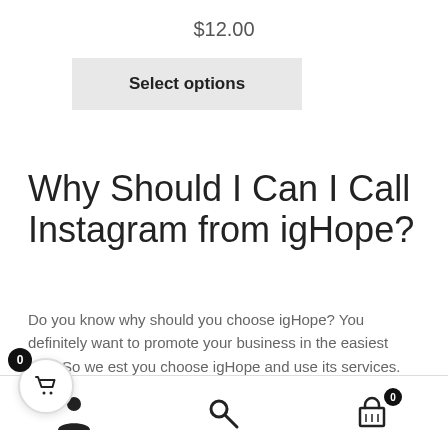$12.00
Select options
Why Should I Can I Call Instagram from igHope?
Do you know why should you choose igHope? You definitely want to promote your business in the easiest way. So we est you choose igHope and use its services. Here are salient features:
[Figure (infographic): Floating cart button with badge showing 0]
[Figure (infographic): WhatsApp chat bar with text 'How can I help you?']
[Figure (infographic): Bottom navigation bar with person icon, search icon, and cart icon with badge 0]